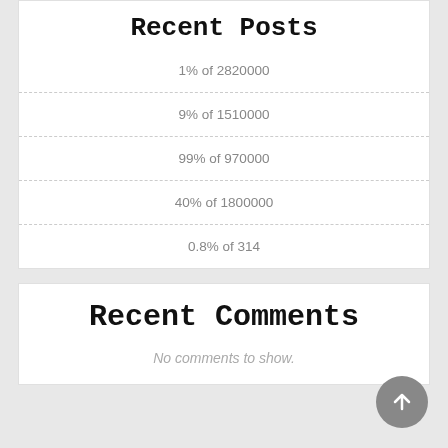Recent Posts
1% of 2820000
9% of 1510000
99% of 970000
40% of 1800000
0.8% of 314
Recent Comments
No comments to show.